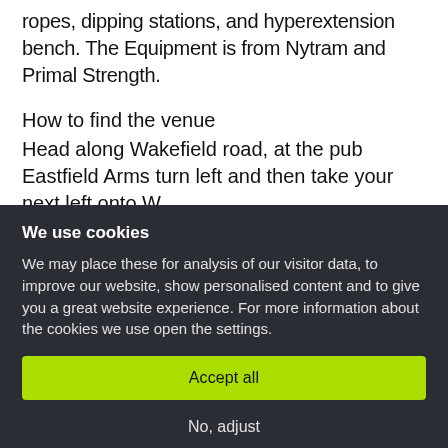ropes, dipping stations, and hyperextension bench. The Equipment is from Nytram and Primal Strength.
How to find the venue
Head along Wakefield road, at the pub Eastfield Arms turn left and then take your next left onto W...
We use cookies
We may place these for analysis of our visitor data, to improve our website, show personalised content and to give you a great website experience. For more information about the cookies we use open the settings.
Accept all
No, adjust